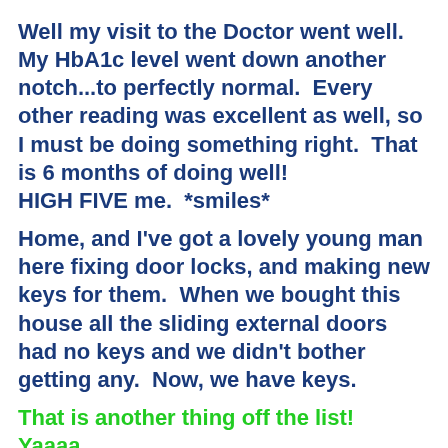Well my visit to the Doctor went well.  My HbA1c level went down another notch...to perfectly normal.  Every other reading was excellent as well, so I must be doing something right.  That is 6 months of doing well!
HIGH FIVE me.  *smiles*
Home, and I've got a lovely young man here fixing door locks, and making new keys for them.  When we bought this house all the sliding external doors had no keys and we didn't bother getting any.  Now, we have keys.
That is another thing off the list!  Yaaaa.
Dinner tonight is something easy, beef spare rib thingees and veges.  Quick and simple.  After doing a roast turkey last night I thought I'd do an